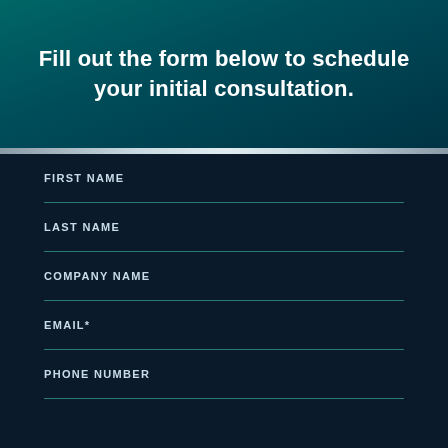Fill out the form below to schedule your initial consultation.
FIRST NAME
LAST NAME
COMPANY NAME
EMAIL*
PHONE NUMBER